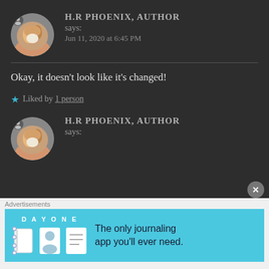[Figure (photo): Circular avatar photo of a cat being held by a person's hand]
H.R PHOENIX, AUTHOR
says:
Jun 11, 2020 at 6:45 PM
Okay, it doesn't look like it's changed!
★ Liked by 1 person
[Figure (photo): Circular avatar photo of a cat being held by a person's hand]
H.R PHOENIX, AUTHOR
says:
[Figure (screenshot): Advertisement banner for Day One journaling app with text: The only journaling app you'll ever need.]
Advertisements